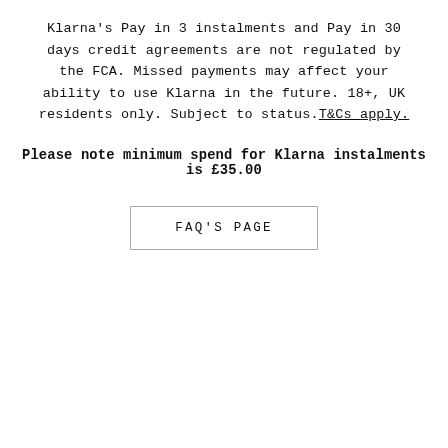Klarna's Pay in 3 instalments and Pay in 30 days credit agreements are not regulated by the FCA. Missed payments may affect your ability to use Klarna in the future. 18+, UK residents only. Subject to status.T&Cs apply.
Please note minimum spend for Klarna instalments is £35.00
FAQ'S PAGE